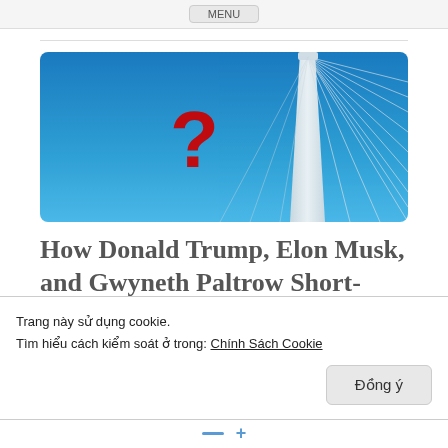MENU
[Figure (photo): A cable-stayed bridge pylon with cable wires against a bright blue sky, with a large red question mark overlaid on the left side of the image.]
How Donald Trump, Elon Musk, and Gwyneth Paltrow Short-Circuit Your Ability to Think Rationally
Trang này sử dụng cookie.
Tìm hiểu cách kiểm soát ở trong: Chính Sách Cookie
Đồng ý